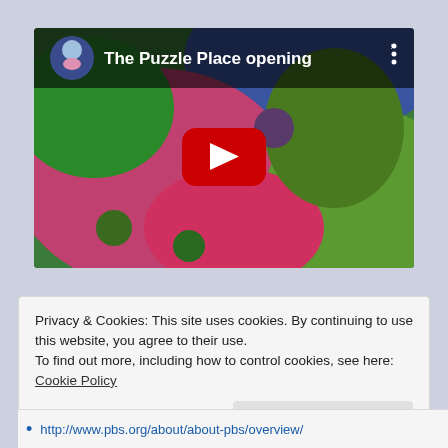[Figure (screenshot): YouTube video embed showing 'The Puzzle Place opening' with a colorful thumbnail of puzzle piece characters and a red play button in the center. A channel icon and video title appear in the top-left header bar.]
Privacy & Cookies: This site uses cookies. By continuing to use this website, you agree to their use.
To find out more, including how to control cookies, see here: Cookie Policy
Close and accept
http://www.pbs.org/about/about-pbs/overview/